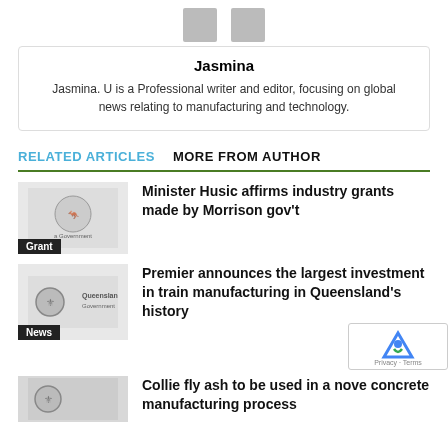[Figure (other): Author avatar placeholder icons]
Jasmina
Jasmina. U is a Professional writer and editor, focusing on global news relating to manufacturing and technology.
RELATED ARTICLES   MORE FROM AUTHOR
[Figure (photo): Australian Government crest logo with Grant label]
Minister Husic affirms industry grants made by Morrison gov't
[Figure (logo): Queensland Government logo with News label]
Premier announces the largest investment in train manufacturing in Queensland's history
[Figure (photo): Collie fly ash article thumbnail]
Collie fly ash to be used in a nove concrete manufacturing process